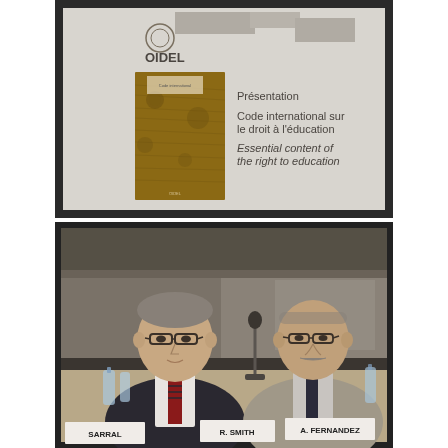[Figure (photo): Projection screen showing OIDEL presentation slide with text: 'Présentation', 'Code international sur le droit à l'éducation', 'Essential content of the right to education', alongside a book cover image with a wooden/architectural background.]
[Figure (photo): Two men seated at a conference table. Name placards visible: 'SARRAL' (partially visible), 'R. SMITH', and 'A. FERNANDEZ'. The man on the left wears glasses and a dark suit with striped tie. The man on the right wears a light grey jacket and glasses with a dark tie. A microphone is visible between them.]